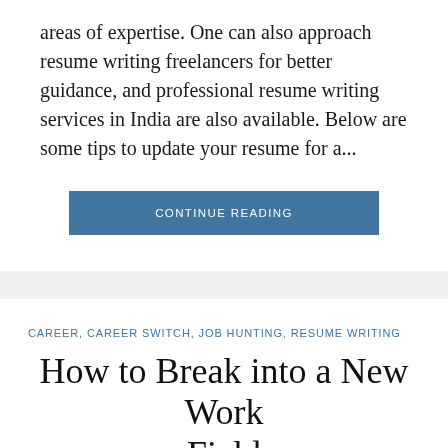areas of expertise. One can also approach resume writing freelancers for better guidance, and professional resume writing services in India are also available. Below are some tips to update your resume for a...
CONTINUE READING
CAREER, CAREER SWITCH, JOB HUNTING, RESUME WRITING
How to Break into a New Work Field
JUNE 24, 2021